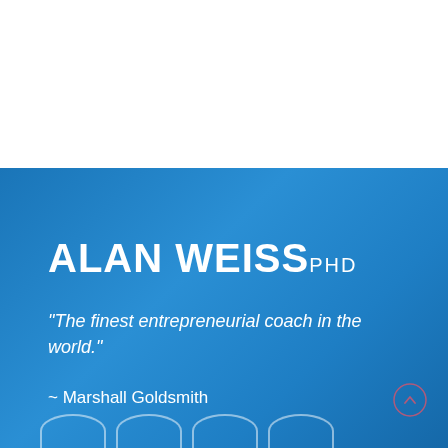ALAN WEISS PHD
“The finest entrepreneurial coach in the world.”
~ Marshall Goldsmith